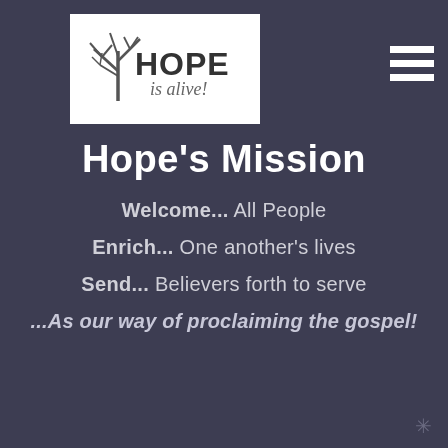[Figure (logo): Hope is Alive! logo with stylized tree and text on white background]
Hope's Mission
Welcome...  All People
Enrich...  One another's lives
Send...  Believers forth to serve
...As our way of proclaiming the gospel!